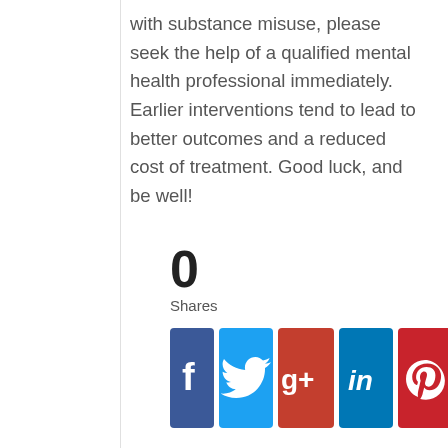with substance misuse, please seek the help of a qualified mental health professional immediately. Earlier interventions tend to lead to better outcomes and a reduced cost of treatment. Good luck, and be well!
0
Shares
[Figure (infographic): Row of 5 social media share buttons: Facebook (blue, f icon), Twitter (light blue, bird icon), Google+ (red-brown, g+ icon), LinkedIn (blue, in icon), Pinterest (red, P icon)]